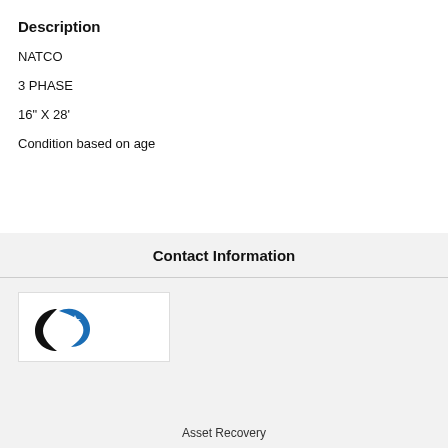Description
NATCO
3 PHASE
16" X 28'
Condition based on age
Contact Information
[Figure (logo): Canadian Natural Resources logo with black and blue swoosh/leaf design and text 'Canadian Natural']
Asset Recovery